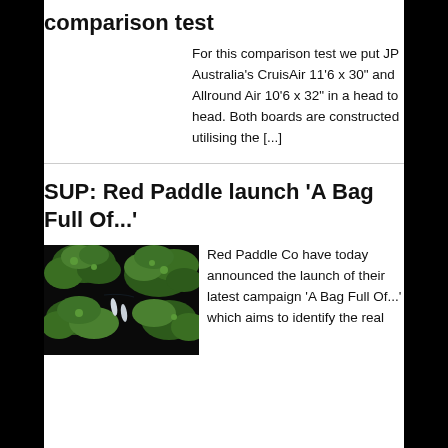comparison test
For this comparison test we put JP Australia's CruisAir 11'6 x 30" and Allround Air 10'6 x 32" in a head to head. Both boards are constructed utilising the [...]
SUP: Red Paddle launch ‘A Bag Full Of...’
[Figure (photo): Aerial view of dark water with green tree canopy and two kayakers visible from above]
Red Paddle Co have today announced the launch of their latest campaign ‘A Bag Full Of...’ which aims to identify the real